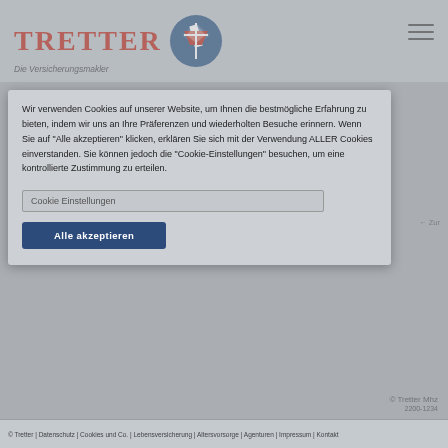TRETTER – Die Versicherungsmakler
Wir verwenden Cookies auf unserer Website, um Ihnen die bestmögliche Erfahrung zu bieten, indem wir uns an Ihre Präferenzen und wiederholten Besuche erinnern. Wenn Sie auf "Alle akzeptieren" klicken, erklären Sie sich mit der Verwendung ALLER Cookies einverstanden. Sie können jedoch die "Cookie-Einstellungen" besuchen, um eine kontrollierte Zustimmung zu erteilen.
Cookie Einstellungen
Alle akzeptieren
© Tretter | Datenschutz | Cookies und Co. | Lebensversicherung | Altersvorsorge | Agenturen | Impressum | Kontakt